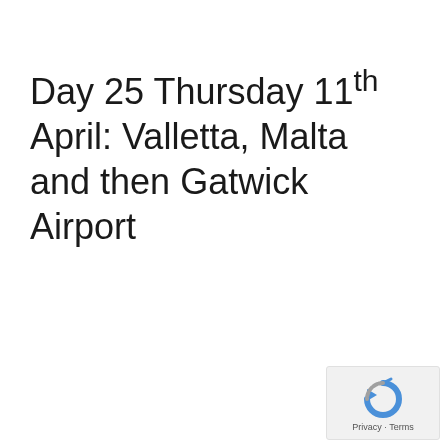Day 25 Thursday 11th April: Valletta, Malta and then Gatwick Airport
[Figure (logo): reCAPTCHA logo with circular arrow icon in blue and grey, with 'Privacy · Terms' text below]